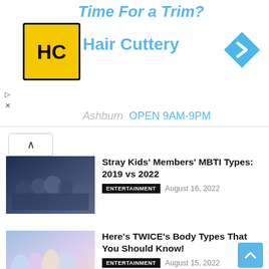[Figure (infographic): Hair Cuttery advertisement banner with HC logo, 'Time For a Trim?' text, Hair Cuttery name in blue, navigation arrow, and Ashburn OPEN 9AM-9PM text]
Stray Kids' Members' MBTI Types: 2019 vs 2022 | ENTERTAINMENT | August 16, 2022
Here's TWICE's Body Types That You Should Know! | ENTERTAINMENT | August 15, 2022
All BTS Slang Words You Need To Know | ENTERTAINMENT | August 15, 2022